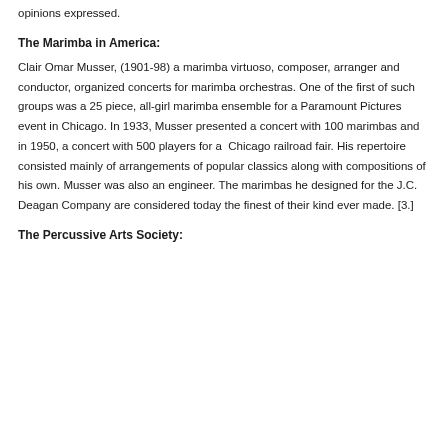opinions expressed.
The Marimba in America:
Clair Omar Musser, (1901-98) a marimba virtuoso, composer, arranger and conductor, organized concerts for marimba orchestras. One of the first of such groups was a 25 piece, all-girl marimba ensemble for a Paramount Pictures event in Chicago. In 1933, Musser presented a concert with 100 marimbas and in 1950, a concert with 500 players for a  Chicago railroad fair. His repertoire consisted mainly of arrangements of popular classics along with compositions of his own. Musser was also an engineer. The marimbas he designed for the J.C. Deagan Company are considered today the finest of their kind ever made. [3.]
The Percussive Arts Society: